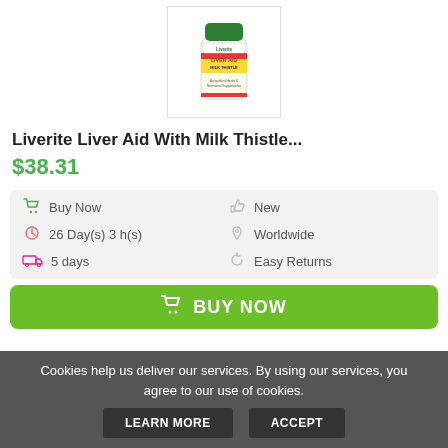[Figure (photo): White supplement bottle with green cap labeled 'Liverite Liver Aid with Milk Thistle']
Liverite Liver Aid With Milk Thistle...
$38.31
Buy Now | 26 Day(s) 3 h(s) | 5 days | New | Worldwide | Easy Returns
BUY NOW
Cookies help us deliver our services. By using our services, you agree to our use of cookies.
LEARN MORE
ACCEPT